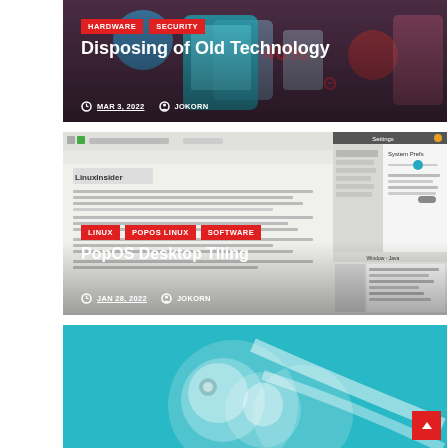[Figure (screenshot): Blog card 1: 'Disposing of Old Technology' with tags HARDWARE, SECURITY, date MAR 3, 2022, author JOKORN, dark background with old electronics]
Disposing of Old Technology
MAR 3, 2022   JOKORN
[Figure (screenshot): Blog card 2: 'PopOS Desktop Tiling' with tags LINUX, POPOS LINUX, SOFTWARE, date JAN 28, 2022, author JOKORN, Linux desktop screenshot]
PopOS Desktop Tiling
JAN 28, 2022   JOKORN
[Figure (screenshot): Blog card 3: teal background with white decorative graphic (partial view)]